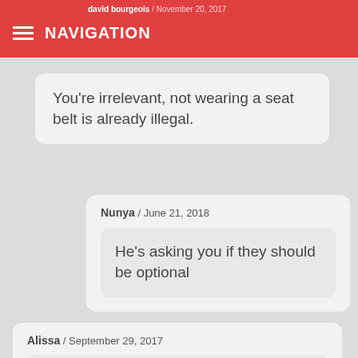david bourgeois / November 20, 2017 | NAVIGATION
You're irrelevant, not wearing a seat belt is already illegal.
Nunya / June 21, 2018
He's asking you if they should be optional
Alissa / September 29, 2017
this helped me alot there are alot of things on here that we can use